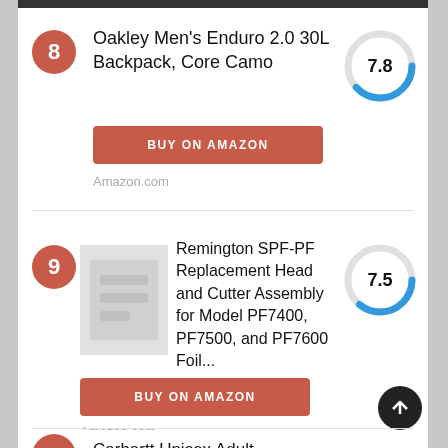8 – Oakley Men's Enduro 2.0 30L Backpack, Core Camo – Score: 7.8
[Figure (donut-chart): Score 7.8]
BUY ON AMAZON
Amazon.com
9 – Remington SPF-PF Replacement Head and Cutter Assembly for Model PF7400, PF7500, and PF7600 Foil... – Score: 7.5
[Figure (donut-chart): Score 7.5]
BUY ON AMAZON
Amazon.com
10 – Carhartt Unisex Adult...